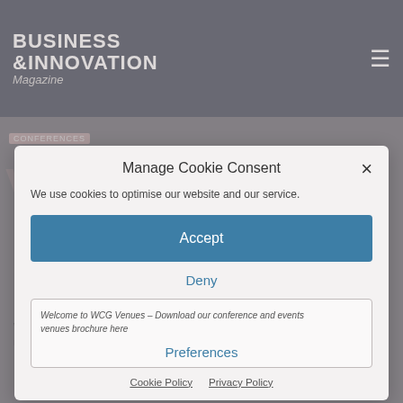BUSINESS & INNOVATION Magazine
Manage Cookie Consent
We use cookies to optimise our website and our service.
Accept
Deny
Welcome to WCG Venues – Download our conference and events venues brochure here
Preferences
Cookie Policy   Privacy Policy
Welcome to Venues @WCG…  A college group may not spring to mind immediately as…